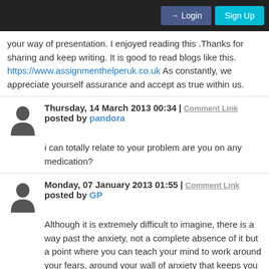Login | Sign Up
your way of presentation. I enjoyed reading this .Thanks for sharing and keep writing. It is good to read blogs like this. https://www.assignmenthelperuk.co.uk As constantly, we appreciate yourself assurance and accept as true within us.
Thursday, 14 March 2013 00:34 | Comment Link
posted by pandora
i can totally relate to your problem are you on any medication?
Monday, 07 January 2013 01:55 | Comment Link
posted by GP
Although it is extremely difficult to imagine, there is a way past the anxiety, not a complete absence of it but a point where you can teach your mind to work around your fears, around your wall of anxiety that keeps you from enjoying life. The process is not the same for all just as the severity of anxiety is not the same and that also goes for